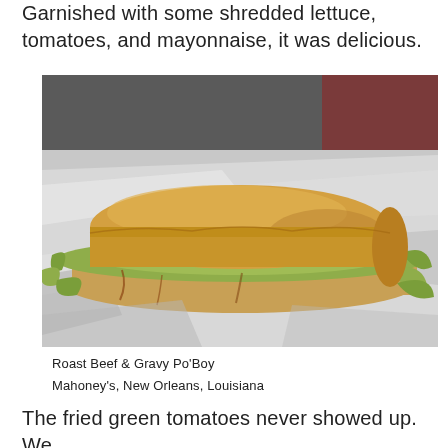Garnished with some shredded lettuce, tomatoes, and mayonnaise, it was delicious.
[Figure (photo): A roast beef and gravy po'boy sandwich overflowing with shredded lettuce, served on white deli paper wrapping.]
Roast Beef & Gravy Po'Boy
Mahoney's, New Orleans, Louisiana
The fried green tomatoes never showed up. We